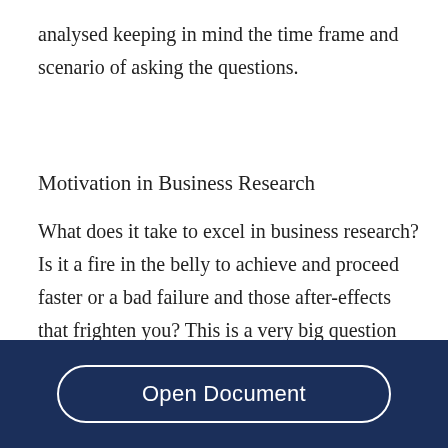analysed keeping in mind the time frame and scenario of asking the questions.
Motivation in Business Research
What does it take to excel in business research? Is it a fire in the belly to achieve and proceed faster or a bad failure and those after-effects that frighten you? This is a very big question every business needs to answer in order to realize the importance and need for business research. Only when one
Open Document